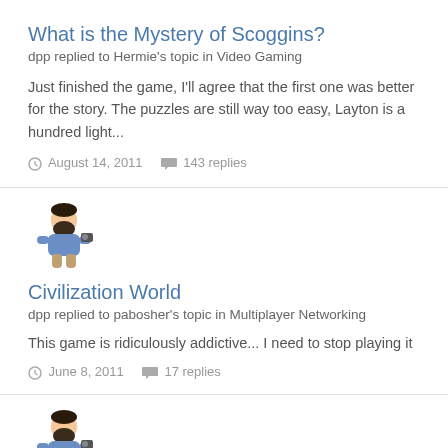What is the Mystery of Scoggins?
dpp replied to Hermie's topic in Video Gaming
Just finished the game, I'll agree that the first one was better for the story. The puzzles are still way too easy, Layton is a hundred light...
August 14, 2011   143 replies
[Figure (illustration): Avatar of a cartoon bearded man holding a camera, small pixel-art style]
Civilization World
dpp replied to pabosher's topic in Multiplayer Networking
This game is ridiculously addictive... I need to stop playing it
June 8, 2011   17 replies
[Figure (illustration): Avatar of a cartoon bearded man holding a camera, small pixel-art style]
Civilization World
dpp replied to pabosher's topic in Multiplayer Networking